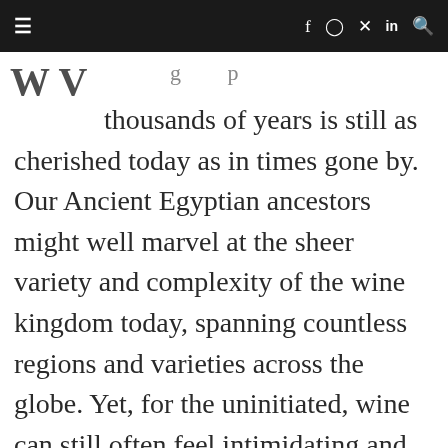≡   f  ⊙  ℗  in  🔍
[Figure (logo): Website logo letters 'W V' partially visible at top left]
thousands of years is still as cherished today as in times gone by. Our Ancient Egyptian ancestors might well marvel at the sheer variety and complexity of the wine kingdom today, spanning countless regions and varieties across the globe. Yet, for the uninitiated, wine can still often feel intimidating and overwhelming. From the specific grape varieties, blends, production processes, regional variances, and general lack of any